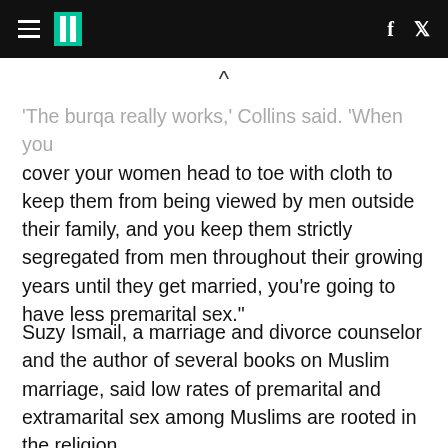HuffPost — hamburger menu, logo, f, twitter icons
'The burqa really works,' Collins said. 'When you cover your women head to toe with cloth to keep them from being viewed by men outside their family, and you keep them strictly segregated from men throughout their growing years until they get married, you're going to have less premarital sex."
Suzy Ismail, a marriage and divorce counselor and the author of several books on Muslim marriage, said low rates of premarital and extramarital sex among Muslims are rooted in the religion.